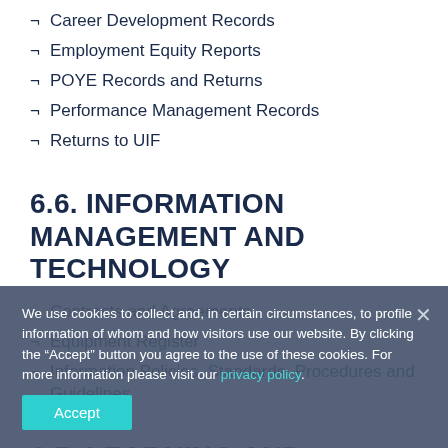Career Development Records
Employment Equity Reports
POYE Records and Returns
Performance Management Records
Returns to UIF
6.6. INFORMATION MANAGEMENT AND TECHNOLOGY
Contracts and Agreements
Equipment Register
Information Policies, Standards, Procedures and Guidelines
6.7. LEARNING AND EDUCATION
We use cookies to collect and, in certain circumstances, to profile information of whom and how visitors use our website. By clicking the “Accept” button you agree to the use of these cookies. For more information please visit our privacy policy.